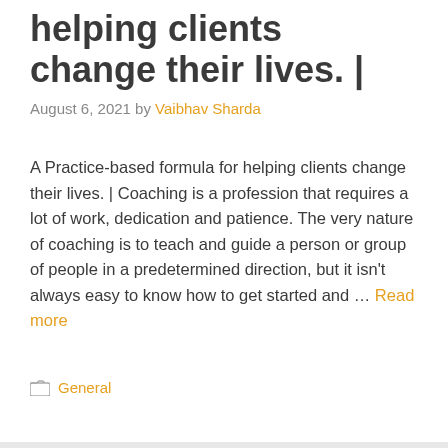helping clients change their lives. |
August 6, 2021 by Vaibhav Sharda
A Practice-based formula for helping clients change their lives. | Coaching is a profession that requires a lot of work, dedication and patience. The very nature of coaching is to teach and guide a person or group of people in a predetermined direction, but it isn't always easy to know how to get started and … Read more
General